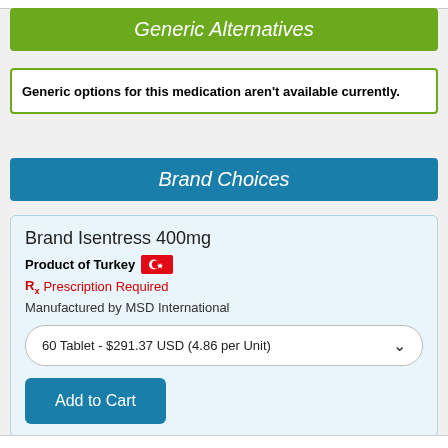Generic Alternatives
Generic options for this medication aren't available currently.
Brand Choices
Brand Isentress 400mg
Product of Turkey
Prescription Required
Manufactured by MSD International
60 Tablet - $291.37 USD (4.86 per Unit)
Add to Cart